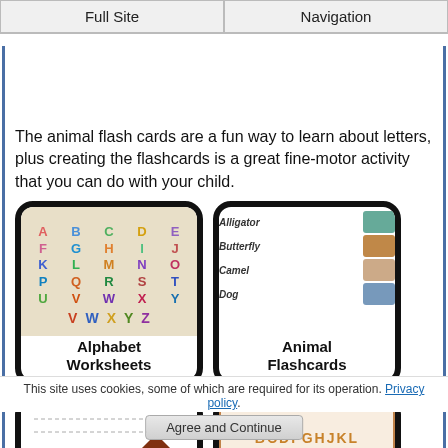Full Site | Navigation
The animal flash cards are a fun way to learn about letters, plus creating the flashcards is a great fine-motor activity that you can do with your child.
[Figure (illustration): Alphabet Worksheets card with colorful alphabet letters grid and label 'Alphabet Worksheets']
[Figure (illustration): Animal Flashcards card showing rows: Alligator, Butterfly, Camel, Dog with animal images and label 'Animal Flashcards']
[Figure (illustration): Partially visible worksheet card with horse and house illustration]
[Figure (illustration): Partially visible consonants card with letters BCDFGHJKL MNPQRSTUVW XYZ on orange background]
This site uses cookies, some of which are required for its operation. Privacy policy.
Agree and Continue